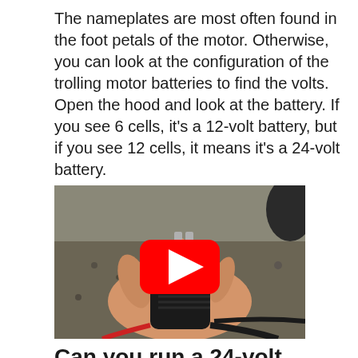The nameplates are most often found in the foot petals of the motor. Otherwise, you can look at the configuration of the trolling motor batteries to find the volts. Open the hood and look at the battery. If you see 6 cells, it's a 12-volt battery, but if you see 12 cells, it means it's a 24-volt battery.
[Figure (photo): A hand holding a black electrical connector/plug outdoors, with a red YouTube play button overlay in the center of the image.]
Can you run a 24-volt